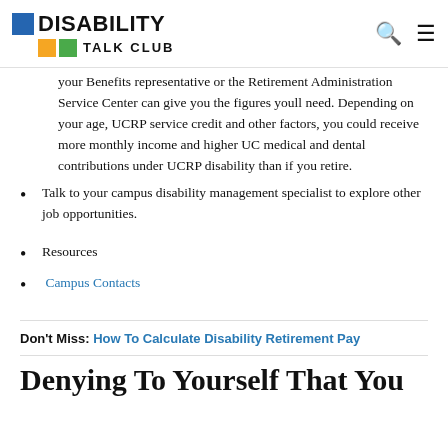DISABILITY TALK CLUB
your Benefits representative or the Retirement Administration Service Center can give you the figures youll need. Depending on your age, UCRP service credit and other factors, you could receive more monthly income and higher UC medical and dental contributions under UCRP disability than if you retire.
Talk to your campus disability management specialist to explore other job opportunities.
Resources
Campus Contacts
Don't Miss: How To Calculate Disability Retirement Pay
Denying To Yourself That You